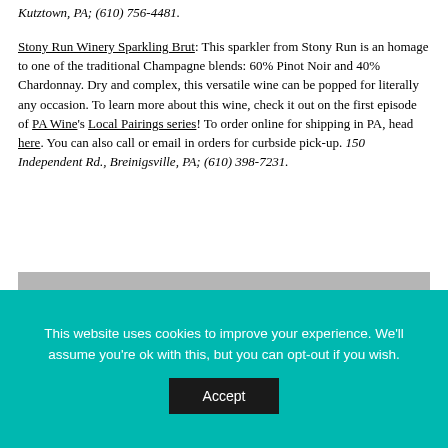Kutztown, PA; (610) 756-4481.
Stony Run Winery Sparkling Brut: This sparkler from Stony Run is an homage to one of the traditional Champagne blends: 60% Pinot Noir and 40% Chardonnay. Dry and complex, this versatile wine can be popped for literally any occasion. To learn more about this wine, check it out on the first episode of PA Wine's Local Pairings series! To order online for shipping in PA, head here. You can also call or email in orders for curbside pick-up. 150 Independent Rd., Breinigsville, PA; (610) 398-7231.
[Figure (photo): Gray placeholder image area for a photo]
This website uses cookies to improve your experience. We'll assume you're ok with this, but you can opt-out if you wish.